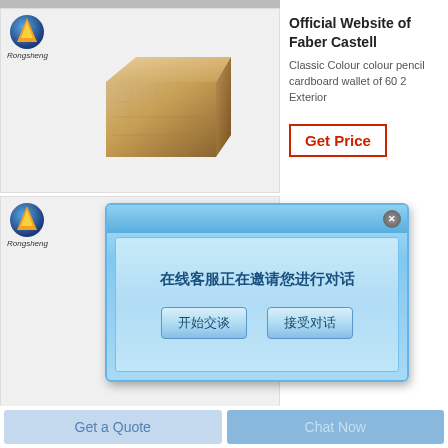[Figure (screenshot): Screenshot of a product listing page showing a stone/eraser block product with Rongsheng logo, alongside text for Official Website of Faber Castell with product description and Get Price button, plus a Chinese chat popup dialog with buttons 开始交谈 and 接受对话, and a second product card below showing a pointed stone/pencil tip, with Get a Quote and Chat Now buttons at the bottom.]
Official Website of Faber Castell
Classic Colour colour pencil cardboard wallet of 60 2 Exterior
Get Price
在线客服正在邀请您进行对话
开始交谈
接受对话
Get a Quote
Chat Now